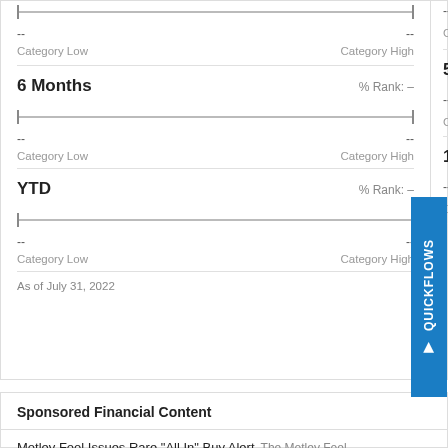-- (Category Low)  -- (Category High)  -- (Category Low)
6 Months
% Rank: --
-- Category Low  -- Category High  -- Category Low
5 Year
YTD
% Rank: --
-- Category Low  -- Category High  -- Category Low
10 Year
As of July 31, 2022
Sponsored Financial Content
Motley Fool Issues Rare "All In" Buy Alert  The Motley Fool
Hands Down One of the Best Cards for Good Credit...